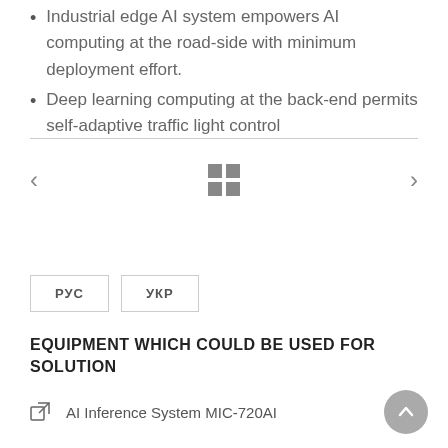Industrial edge AI system empowers AI computing at the road-side with minimum deployment effort.
Deep learning computing at the back-end permits self-adaptive traffic light control
[Figure (other): Navigation arrows (left and right) with a 2x2 grid icon in the center, representing a slideshow or gallery navigation UI element.]
РУС   УКР
EQUIPMENT WHICH COULD BE USED FOR SOLUTION
AI Inference System MIC-720AI